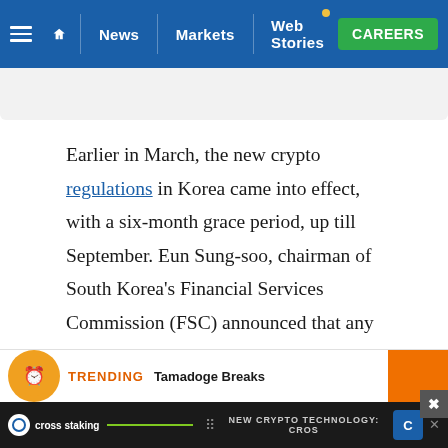News | Markets | Web Stories | CAREERS
Earlier in March, the new crypto regulations in Korea came into effect, with a six-month grace period, up till September. Eun Sung-soo, chairman of South Korea's Financial Services Commission (FSC) announced that any crypto exchange that operates in the Korean region, will be mandated by FSC's AML regulations. Foreign crypto exchanges will be required to get authorization from the FSC's AML watchdog, i.e., the Korea Financial Intelligence Unit.
TRENDING Tamadoge Breaks
cross staking NEW CRYPTO TECHNOLOGY: CROS